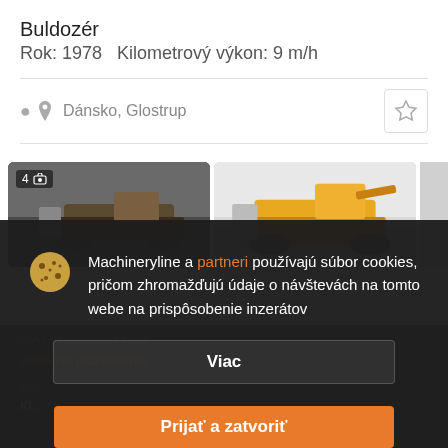Buldozér
Rok: 1978   Kilometrový výkon: 9 m/h
Dánsko, Glostrup
[Figure (screenshot): Two vehicle listing card thumbnails showing bulldozers]
FIAT ALLIS 500 FD 16
cena na požiadanie
Machineryline a partneri používajú súbor cookies, pričom zhromažďujú údaje o návštevách na tomto webe na prispôsobenie inzerátov
Viac
Prijať a zatvoriť